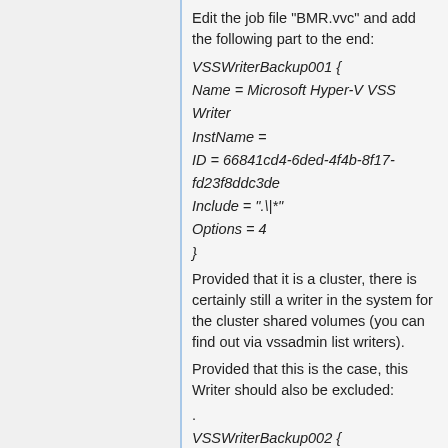Edit the job file "BMR.vvc" and add the following part to the end:
VSSWriterBackup001 {
Name = Microsoft Hyper-V VSS Writer
InstName =
ID = 66841cd4-6ded-4f4b-8f17-fd23f8ddc3de
Include = ".\*"
Options = 4
}
Provided that it is a cluster, there is certainly still a writer in the system for the cluster shared volumes (you can find out via vssadmin list writers).
Provided that this is the case, this Writer should also be excluded:
.
VSSWriterBackup002 {
Name = Cluster Shared Volume VSS Writer